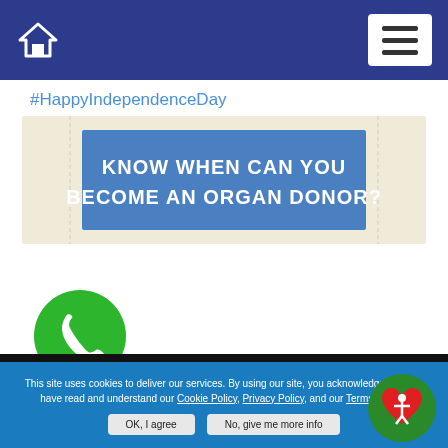Navigation bar with home icon and menu button
#HappyIndependenceDay
[Figure (infographic): Banner ticket with text: KNOW WHEN CAN YOU BECOME AN ORGAN DONOR? on blue background]
[Figure (illustration): Green circle phone call button icon]
This site uses cookies to deliver our services. By using our site, you acknowledge that you have read and understand our Cookie Policy, Privacy Policy, and our Terms of Use.
OK, I agree | No, give me more info
[Figure (logo): Circular logo with red heart and person figure on green background]